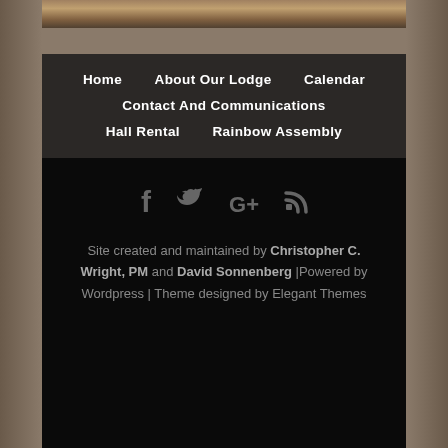[Figure (photo): Top portion of a decorative lodge banner image with warm tones]
Home
About Our Lodge
Calendar
Contact And Communications
Hall Rental
Rainbow Assembly
[Figure (infographic): Social media icons: Facebook, Twitter, Google+, RSS feed]
Site created and maintained by Christopher C. Wright, PM and David Sonnenberg |Powered by Wordpress | Theme designed by Elegant Themes